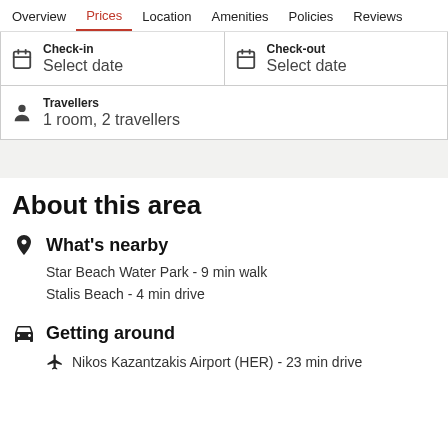Overview | Prices | Location | Amenities | Policies | Reviews
Check-in
Select date
Check-out
Select date
Travellers
1 room, 2 travellers
About this area
What's nearby
Star Beach Water Park - 9 min walk
Stalis Beach - 4 min drive
Getting around
Nikos Kazantzakis Airport (HER) - 23 min drive